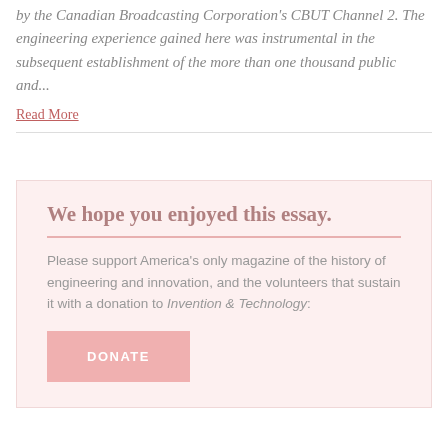by the Canadian Broadcasting Corporation's CBUT Channel 2. The engineering experience gained here was instrumental in the subsequent establishment of the more than one thousand public and...
Read More
We hope you enjoyed this essay.
Please support America's only magazine of the history of engineering and innovation, and the volunteers that sustain it with a donation to Invention & Technology:
DONATE